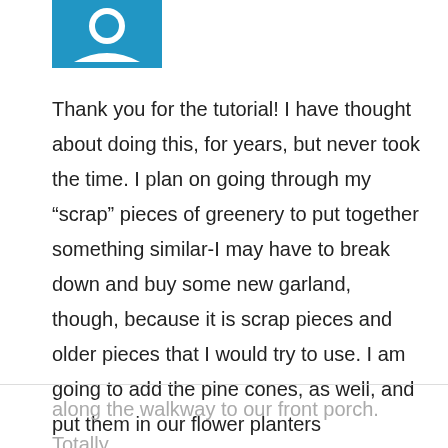[Figure (illustration): Blue square avatar/icon with a white chat or person icon visible at top of page]
Thank you for the tutorial! I have thought about doing this, for years, but never took the time. I plan on going through my “scrap” pieces of greenery to put together something similar-I may have to break down and buy some new garland, though, because it is scrap pieces and older pieces that I would try to use. I am going to add the pine cones, as well, and put them in our flower planters
along the walkway to our front porch. Totally